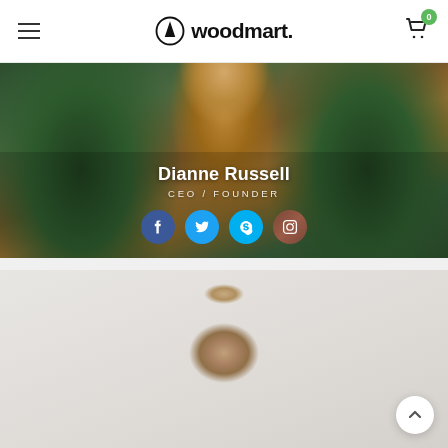woodmart.
[Figure (photo): Profile photo of Dianne Russell wearing a dark green jacket over a brown top, with overlay text showing name, title and social media icons]
Dianne Russell
CEO / FOUNDER
[Figure (photo): Second team member photo showing a woman with hair in a bun, light gray background, partially cropped]